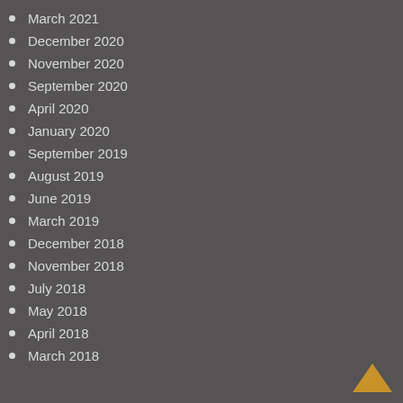March 2021
December 2020
November 2020
September 2020
April 2020
January 2020
September 2019
August 2019
June 2019
March 2019
December 2018
November 2018
July 2018
May 2018
April 2018
March 2018